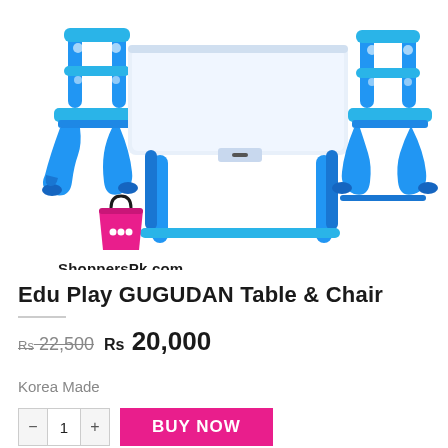[Figure (photo): Blue plastic children's table and chair set (Edu Play GUGUDAN). The set includes a white-topped table with blue legs and two blue chairs with decorative cutout legs. ShoppersPk.com logo (pink shopping bag icon with ellipsis and bold text) is overlaid in the lower-left area of the image.]
Edu Play GUGUDAN Table & Chair
Rs 22,500  Rs 20,000
Korea Made
BUY NOW